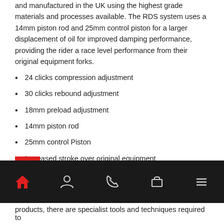and manufactured in the UK using the highest grade materials and processes available. The RDS system uses a 14mm piston rod and 25mm control piston for a larger displacement of oil for improved damping performance, providing the rider a race level performance from their original equipment forks.
24 clicks compression adjustment
30 clicks rebound adjustment
18mm preload adjustment
14mm piston rod
25mm control Piston
Increased stroke over original equipment
Aircraft grade aluminium
Hard anodised and super finished components
Wide range of spring rates available
products, there are specialist tools and techniques required to